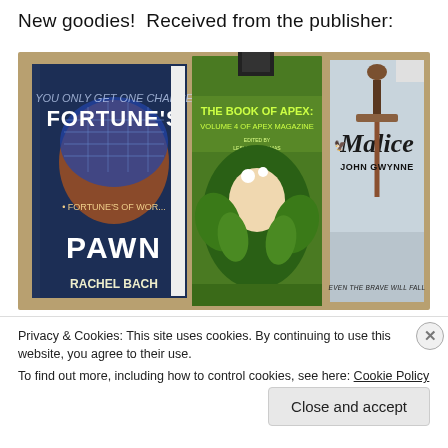New goodies!  Received from the publisher:
[Figure (photo): Three book covers arranged on a tan/beige surface. Left: 'Fortune's Pawn' by Rachel Bach — sci-fi with woman's face and blue helmet. Center: 'The Book of Apex: Volume 4 of Apex Magazine' — green cover with a fairy-like woman surrounded by leaves. Right: 'Malice' by John Gwynne — fantasy with a sword and text 'Even the Brave Will Fall'.]
Privacy & Cookies: This site uses cookies. By continuing to use this website, you agree to their use.
To find out more, including how to control cookies, see here: Cookie Policy